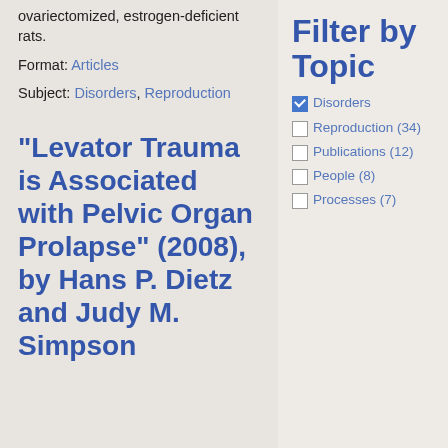ovariectomized, estrogen-deficient rats.
Format: Articles
Subject: Disorders, Reproduction
“Levator Trauma is Associated with Pelvic Organ Prolapse” (2008), by Hans P. Dietz and Judy M. Simpson
Filter by Topic
Disorders (checked)
Reproduction (34)
Publications (12)
People (8)
Processes (7)